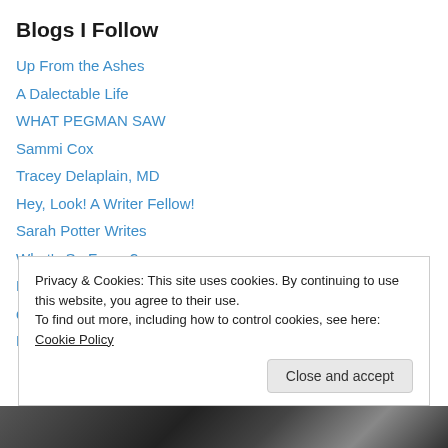Blogs I Follow
Up From the Ashes
A Dalectable Life
WHAT PEGMAN SAW
Sammi Cox
Tracey Delaplain, MD
Hey, Look! A Writer Fellow!
Sarah Potter Writes
What's So Funny?
Dogpatch Writers Collective
dwyer café
Not Looking
Privacy & Cookies: This site uses cookies. By continuing to use this website, you agree to their use. To find out more, including how to control cookies, see here: Cookie Policy
[Figure (photo): Dark photograph visible at bottom of page, appears to show typewriter or mechanical device keys]